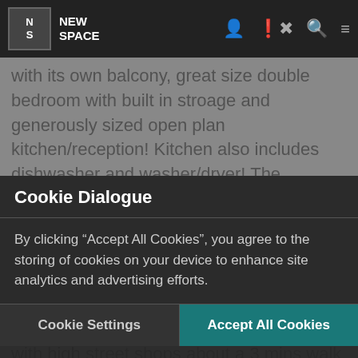NEW SPACE
with its own balcony, great size double bedroom with built in stroage and generously sized open plan kitchen/reception! Kitchen also includes dishwasher and washer/dryer! The apartment feels very bright and airy
for a someone moving alone or as a couple.
Cookie Dialogue
By clicking “Accept All Cookies”, you agree to the storing of cookies on your device to enhance site analytics and advertising efforts.
for someone looking for quick transit to and from the city will
Cookie Settings
Accept All Cookies
minutes! In addition, you have a huge selction of pubs, restaurants and shops with high street shops about a 3 mins walk away. You also have the fashion district on your doorstep with excellent retail outlets including Nike and Burberry whereas you can snag yourself a bargain!